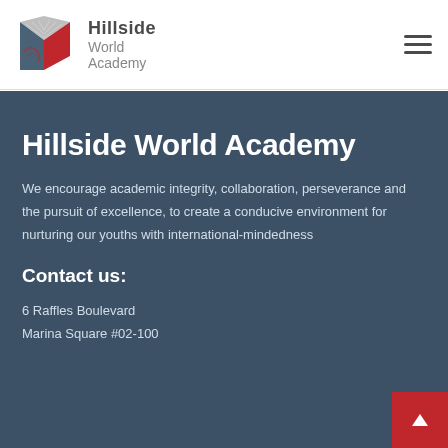[Figure (logo): Hillside World Academy logo with stylized H mark in red, grey, and patterned design, with text 'Hillside World Academy' beside it]
Hillside World Academy
We encourage academic integrity, collaboration, perseverance and the pursuit of excellence, to create a conducive environment for nurturing our youths with international-mindedness
Contact us:
6 Raffles Boulevard
Marina Square #02-100